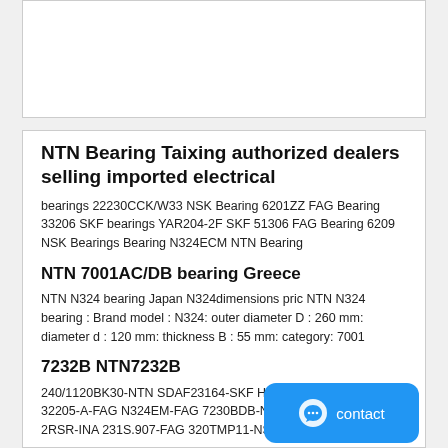[Figure (other): White card placeholder at top of page]
NTN Bearing Taixing authorized dealers selling imported electrical
bearings 22230CCK/W33 NSK Bearing 6201ZZ FAG Bearing 33206 SKF bearings YAR204-2F SKF 51306 FAG Bearing 6209 NSK Bearings Bearing N324ECM NTN Bearing
NTN 7001AC/DB bearing Greece
NTN N324 bearing Japan N324dimensions pric NTN N324 bearing : Brand model : N324: outer diameter D : 260 mm: diameter d : 120 mm: thickness B : 55 mm: category: 7001
7232B NTN7232B
240/1120BK30-NTN SDAF23164-SKF HCS7007E.T.P4S.UL-FAG 32205-A-FAG N324EM-FAG 7230BDB-NTN PE25-FAG 62303-2RSR-INA 231S.907-FAG 320TMP11-NSK
N324 N324ecm Cylindrical Roller Bearing Nsk Ntn Bearing